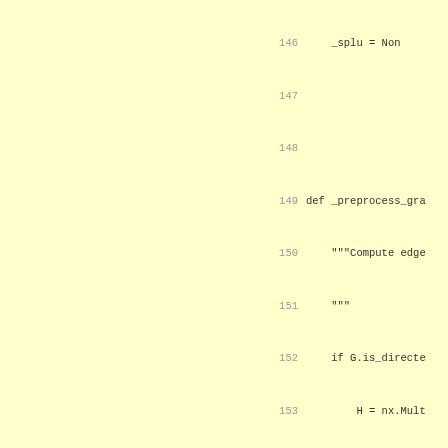[Figure (screenshot): Python source code snippet showing lines 146-173 of a graph preprocessing function, displayed on a yellow background. Lines include _splu = None, def _preprocess_graph, docstring, if G.is_directed, H = nx.MultiGraph assignments, H.add_nodes, H.add_weighted_edges, edge computations, H = nx.Graph(), H.add_nodes_from, H.add_weighted_edges, return H.]